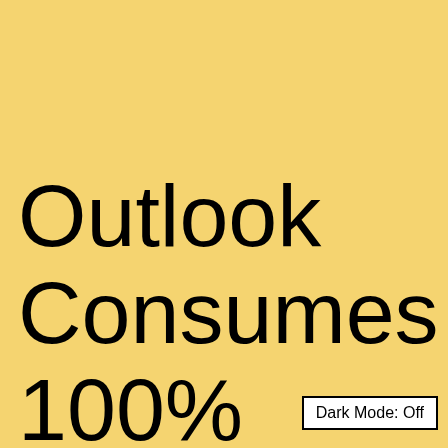Outlook Consumes 100% CPU and Stuck
Dark Mode: Off